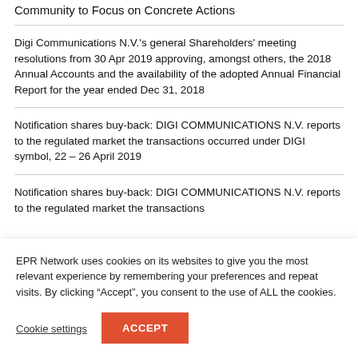Community to Focus on Concrete Actions
Digi Communications N.V.'s general Shareholders' meeting resolutions from 30 Apr 2019 approving, amongst others, the 2018 Annual Accounts and the availability of the adopted Annual Financial Report for the year ended Dec 31, 2018
Notification shares buy-back: DIGI COMMUNICATIONS N.V. reports to the regulated market the transactions occurred under DIGI symbol, 22 – 26 April 2019
Notification shares buy-back: DIGI COMMUNICATIONS N.V. reports to the regulated market the transactions
EPR Network uses cookies on its websites to give you the most relevant experience by remembering your preferences and repeat visits. By clicking “Accept”, you consent to the use of ALL the cookies.
Cookie settings
ACCEPT